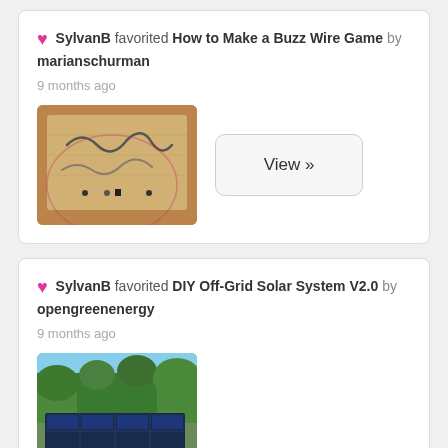SylvanB favorited How to Make a Buzz Wire Game by marianschurman
9 months ago
[Figure (photo): Photo of a buzz wire game made on a wooden board]
View »
SylvanB favorited DIY Off-Grid Solar System V2.0 by opengreenenergy
9 months ago
[Figure (photo): Photo of solar panels installed outdoors among trees]